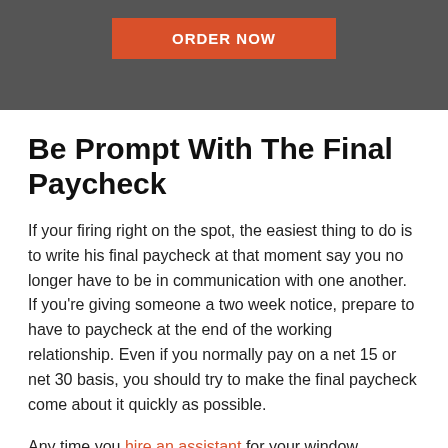[Figure (other): Dark grey header bar with an orange 'ORDER NOW' button centered within it]
Be Prompt With The Final Paycheck
If your firing right on the spot, the easiest thing to do is to write his final paycheck at that moment say you no longer have to be in communication with one another. If you're giving someone a two week notice, prepare to have to paycheck at the end of the working relationship. Even if you normally pay on a net 15 or net 30 basis, you should try to make the final paycheck come about it quickly as possible.
Any time you hire an assistant for your window cleaning company, you run the risk of firing him in the future.